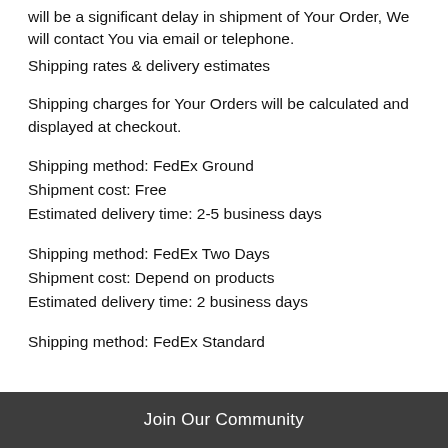will be a significant delay in shipment of Your Order, We will contact You via email or telephone.
Shipping rates & delivery estimates
Shipping charges for Your Orders will be calculated and displayed at checkout.
Shipping method: FedEx Ground
Shipment cost: Free
Estimated delivery time: 2-5 business days
Shipping method: FedEx Two Days
Shipment cost: Depend on products
Estimated delivery time: 2 business days
Shipping method: FedEx Standard
Join Our Community